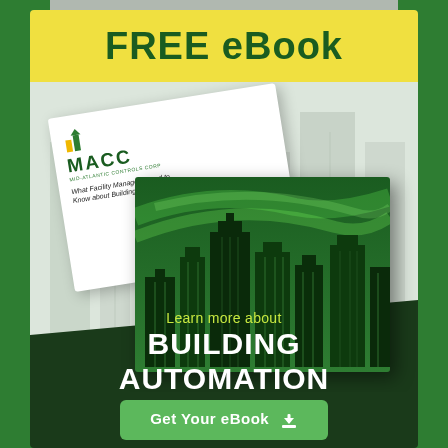FREE eBook
[Figure (illustration): MACC eBook cover showing a white book with MACC logo and green building cityscape cover image titled 'What Facility Managers Need to Know about Building Automation']
Learn more about
BUILDING AUTOMATION
Get Your eBook